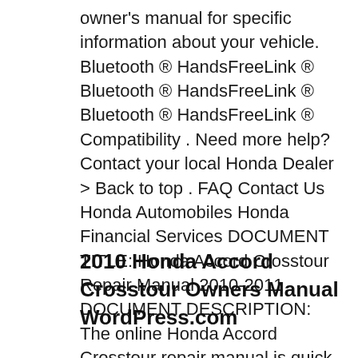owner's manual for specific information about your vehicle. Bluetooth ® HandsFreeLink ® Bluetooth ® HandsFreeLink ® Bluetooth ® HandsFreeLink ® Compatibility . Need more help? Contact your local Honda Dealer > Back to top . FAQ Contact Us Honda Automobiles Honda Financial Services DOCUMENT TITLE: Honda Accord Crosstour Repair Manual 2010-2011 DOCUMENT DESCRIPTION: The online Honda Accord Crosstour repair manual is quick and easy to us...
2010 Honda Accord Crosstour Owners Manual WordPress.com